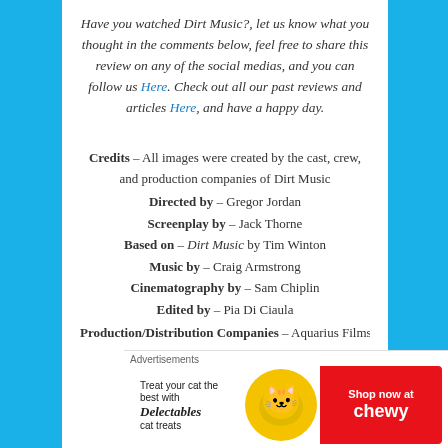Have you watched Dirt Music?, let us know what you thought in the comments below, feel free to share this review on any of the social medias, and you can follow us Here. Check out all our past reviews and articles Here, and have a happy day.
Credits – All images were created by the cast, crew, and production companies of Dirt Music
Directed by – Gregor Jordan
Screenplay by – Jack Thorne
Based on – Dirt Music by Tim Winton
Music by – Craig Armstrong
Cinematography by – Sam Chiplin
Edited by – Pia Di Ciaula
Production/Distribution Companies – Aquarius Films
Advertisements
[Figure (infographic): Advertisement banner for Chewy pet store featuring Delectables cat treats with cat image and red Shop now at Chewy button]